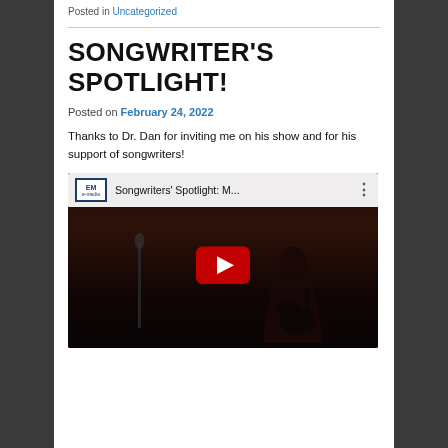Posted in Uncategorized
SONGWRITER'S SPOTLIGHT!
Posted on February 24, 2022
Thanks to Dr. Dan for inviting me on his show and for his support of songwriters!
[Figure (screenshot): Embedded YouTube video thumbnail showing 'Songwriters' Spotlight: M...' with the e-media logo, a play button, and a dark background with a person playing guitar.]